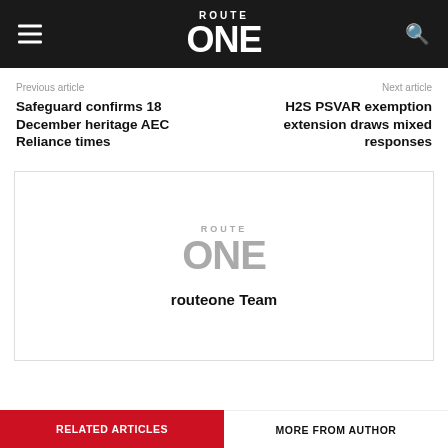ROUTE ONE
Previous article
Safeguard confirms 18 December heritage AEC Reliance times
Next article
H2S PSVAR exemption extension draws mixed responses
[Figure (logo): Route ONE logo in grey on white background inside author card]
routeone Team
RELATED ARTICLES
MORE FROM AUTHOR